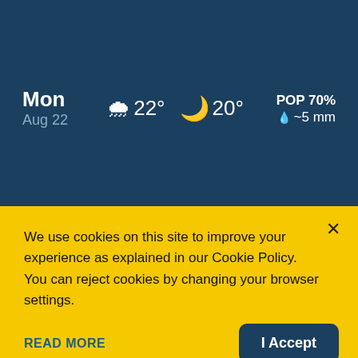[Figure (screenshot): Weather app panel with dark blue background showing Monday Aug 22 forecast: high 22°, low 20°, POP 70%, ~5 mm precipitation]
We use cookies on this site to improve your experience as explained in our Cookie Policy. You can reject cookies by changing your browser settings.
READ MORE
I Accept